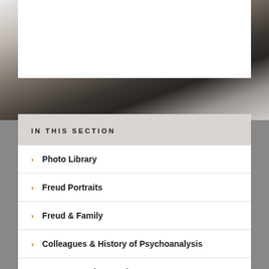[Figure (photo): Black and white background photo of a person, partially obscured, in grayscale tones]
IN THIS SECTION
Photo Library
Freud Portraits
Freud & Family
Colleagues & History of Psychoanalysis
House, Couch & Study
Antiquities